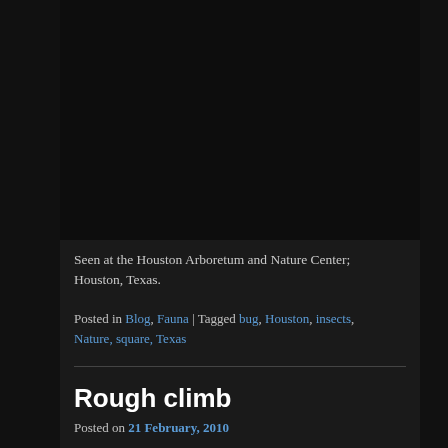Seen at the Houston Arboretum and Nature Center; Houston, Texas.
Posted in Blog, Fauna | Tagged bug, Houston, insects, Nature, square, Texas
Rough climb
Posted on 21 February, 2010
Some hand-/foot-holds on a smokestack of the Battleship Texas:
[Figure (photo): Black and white photograph showing hand/foot-holds on a smokestack of the Battleship Texas]